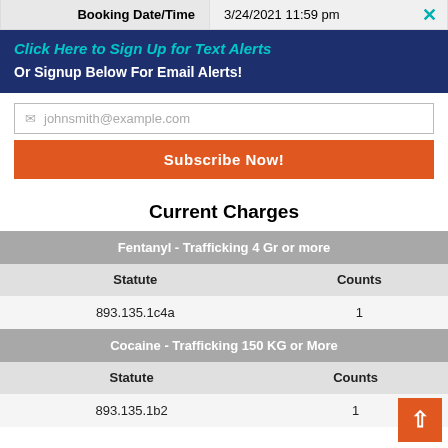| Booking Date/Time |  |
| --- | --- |
| Booking Date/Time | 3/24/2021 11:59 pm |
Click Here to Sign Up for Text Alerts
Or Signup Below For Email Alerts!
johnsmith@example.com
Subscribe Now!
Current Charges
| Statute | Counts |
| --- | --- |
| 893.135.1c4a | 1 |
| Statute | Counts |
| --- | --- |
| 893.135.1b2 | 1 |